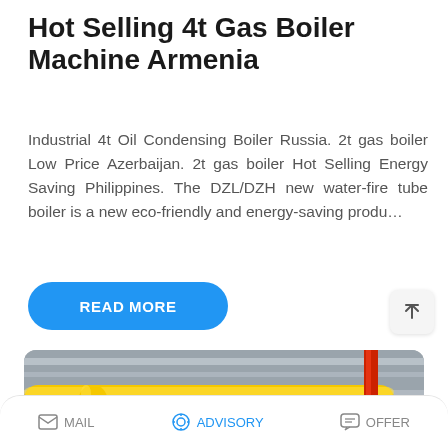Hot Selling 4t Gas Boiler Machine Armenia
Industrial 4t Oil Condensing Boiler Russia. 2t gas boiler Low Price Azerbaijan. 2t gas boiler Hot Selling Energy Saving Philippines. The DZL/DZH new water-fire tube boiler is a new eco-friendly and energy-saving produ…
[Figure (other): READ MORE button (blue rounded pill button)]
[Figure (photo): Industrial gas boiler machinery photo showing yellow pipes and boiler equipment in a factory setting. Overlaid with a WhatsApp sticker save banner showing phone and emoji icons.]
MAIL   ADVISORY   OFFER